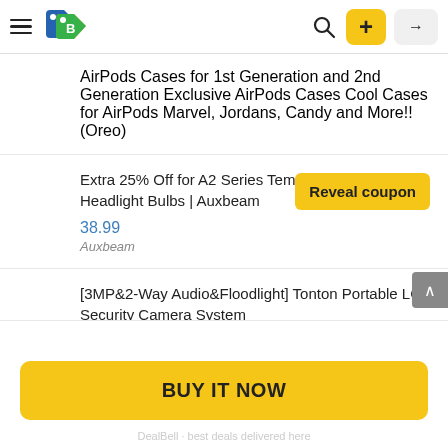[Figure (screenshot): App header with hamburger menu, DB logo (blue and green price tags), search icon, yellow plus button, and gray login arrow button]
AirPods Cases for 1st Generation and 2nd Generation Exclusive AirPods Cases Cool Cases for AirPods Marvel, Jordans, Candy and More!! (Oreo)
Extra 25% Off for A2 Series Temperature Control Headlight Bulbs | Auxbeam
38.99
Auxbeam
Reveal coupon
[3MP&2-Way Audio&Floodlight] Tonton Portable LCD Security Camera System
BUY IT NOW